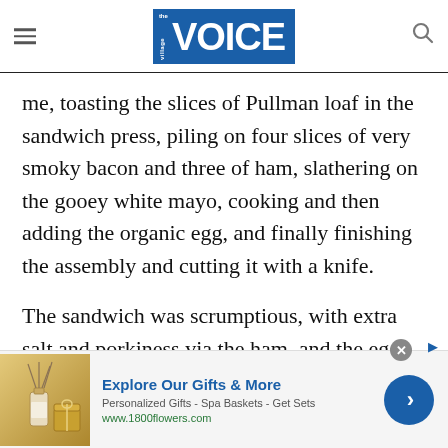the village VOICE
me, toasting the slices of Pullman loaf in the sandwich press, piling on four slices of very smoky bacon and three of ham, slathering on the gooey white mayo, cooking and then adding the organic egg, and finally finishing the assembly and cutting it with a knife.
The sandwich was scrumptious, with extra salt and porkiness via the ham, and the egg adding immeasurably to the richness of mayonnaise. The
[Figure (other): Advertisement banner for 1800flowers.com: 'Explore Our Gifts & More' - Personalized Gifts - Spa Baskets - Get Sets, www.1800flowers.com, with product image and blue arrow button]